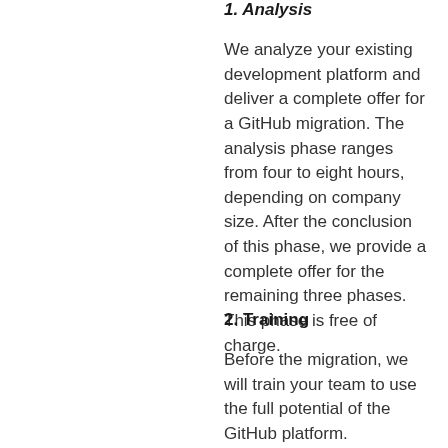1. Analysis
We analyze your existing development platform and deliver a complete offer for a GitHub migration. The analysis phase ranges from four to eight hours, depending on company size. After the conclusion of this phase, we provide a complete offer for the remaining three phases. This phase is free of charge.
2. Training
Before the migration, we will train your team to use the full potential of the GitHub platform.